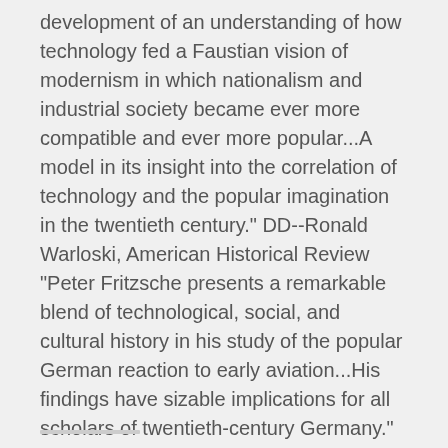development of an understanding of how technology fed a Faustian vision of modernism in which nationalism and industrial society became ever more compatible and ever more popular...A model in its insight into the correlation of technology and the popular imagination in the twentieth century." DD--Ronald Warloski, American Historical Review "Peter Fritzsche presents a remarkable blend of technological, social, and cultural history in his study of the popular German reaction to early aviation...His findings have sizable implications for all scholars of twentieth-century Germany." DD--Norman W. Goda, German Studies Review
The Greenest Nation?